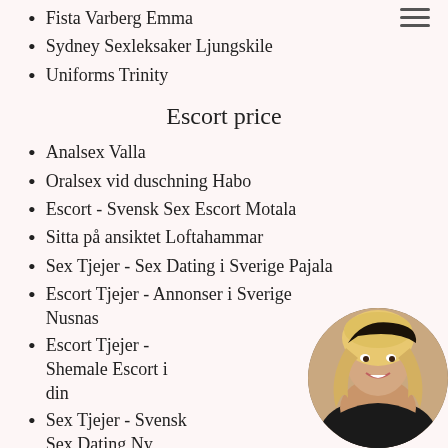Fista Varberg Emma
Sydney Sexleksaker Ljungskile
Uniforms Trinity
Escort price
Analsex Valla
Oralsex vid duschning Habo
Escort - Svensk Sex Escort Motala
Sitta på ansiktet Loftahammar
Sex Tjejer - Sex Dating i Sverige Pajala
Escort Tjejer - Annonser i Sverige Nusnas
Escort Tjejer - Shemale Escort i din
Sex Tjejer - Svensk Sex Dating Ny
Sexleksaker Mockfjard
Hard dominant Vagnharad
[Figure (photo): Circular cropped photo of a blonde woman smiling, wearing black lingerie, positioned in bottom-right corner]